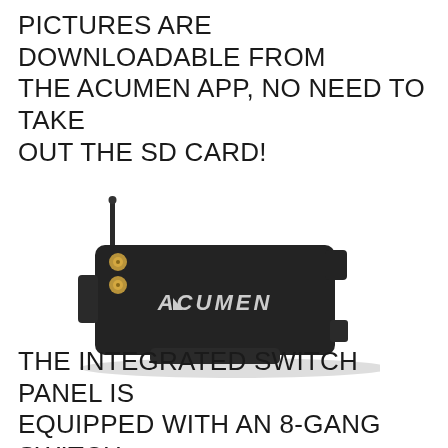PICTURES ARE DOWNLOADABLE FROM THE ACUMEN APP, NO NEED TO TAKE OUT THE SD CARD!
[Figure (photo): Black Acumen device with antenna and gold connectors, seen from above at an angle. The device is a rectangular black unit with the ACUMEN logo on top, a small antenna on the upper left, and gold screw terminals.]
THE INTEGRATED SWITCH PANEL IS EQUIPPED WITH AN 8-GANG SWITCH CONTROL, ACUMEN BOX, WHICH